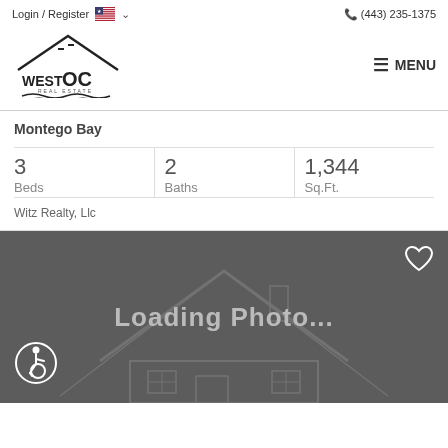Login / Register  🇺🇸 ▾   📞 (443) 235-1375
[Figure (logo): West OC Real Estate logo with house/roof shape and water waves]
≡ MENU
Montego Bay
| Beds | Baths | Sq.Ft. |
| --- | --- | --- |
| 3 | 2 | 1,344 |
Witz Realty, Llc
[Figure (photo): Loading Photo... placeholder with dark gray background, house outline illustration, heart icon top right, accessibility icon bottom left]